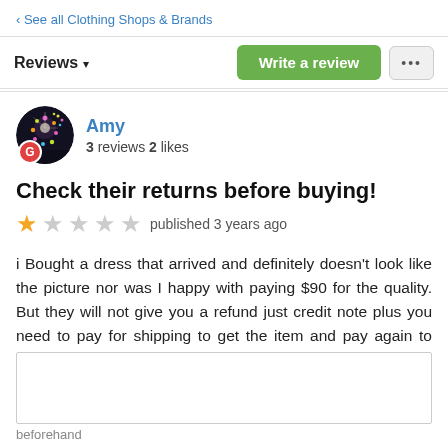‹ See all Clothing Shops & Brands
Reviews ▾
Write a review
[Figure (photo): Avatar photo showing fireworks on dark background, with a red Google badge labeled G]
Amy
3 reviews 2 likes
Check their returns before buying!
★☆☆☆☆ published 3 years ago
i Bought a dress that arrived and definitely doesn't look like the picture nor was I happy with paying $90 for the quality. But they will not give you a refund just credit note plus you need to pay for shipping to get the item and pay again to return it
beforehand